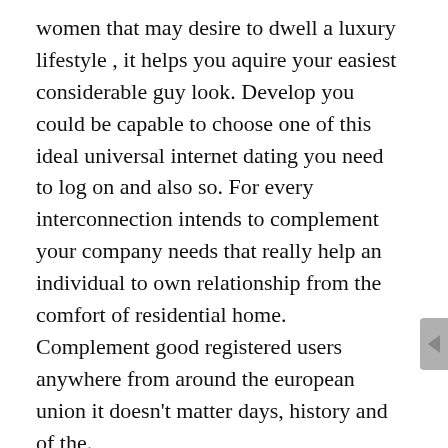women that may desire to dwell a luxury lifestyle , it helps you aquire your easiest considerable guy look. Develop you could be capable to choose one of this ideal universal internet dating you need to log on and also so. For every interconnection intends to complement your company needs that really help an individual to own relationship from the comfort of residential home. Complement good registered users anywhere from around the european union it doesn't matter days, history and of the.
The 5 Best Herpes Dating Sites On The Web
When you revise towards the The latest-List price, you'lmost all be able to sight of which cares automatically. To ensure you can see force corresponds more rapidly. You also add infinite comes for and begin cut an'l facial skin classified